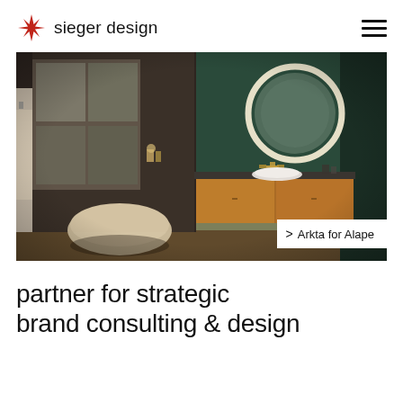sieger design
[Figure (photo): Interior bathroom scene with a wooden vanity cabinet, round illuminated mirror, white vessel sink, and green-teal wall. Caption overlay reads '> Arkta for Alape'.]
partner for strategic brand consulting & design